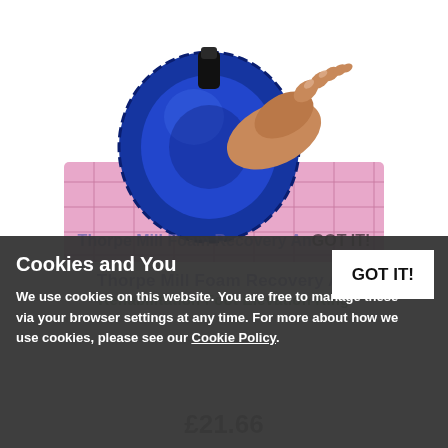[Figure (photo): A blue foam foot elevation ring / recovery ankle ring supporting a foot/heel, shown with pink patterned fabric underneath. The ring is circular and padded, blue in color with a zipper, and a black strap at top.]
Thorpe Mill Foam Recovery Ankle Rehabilitation Foot Elevation Ring
£21.66
Cookies and You
We use cookies on this website. You are free to manage these via your browser settings at any time. For more about how we use cookies, please see our Cookie Policy.
GOT IT!